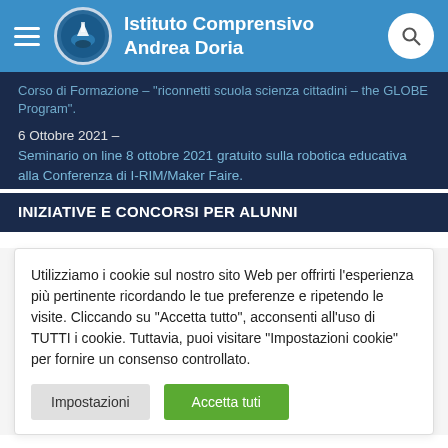Istituto Comprensivo Andrea Doria
Corso di Formazione – "riconnetti scuola scienza cittadini – the GLOBE Program".
6 Ottobre 2021 – Seminario on line 8 ottobre 2021 gratuito sulla robotica educativa alla Conferenza di I-RIM/Maker Faire.
INIZIATIVE E CONCORSI PER ALUNNI
Utilizziamo i cookie sul nostro sito Web per offrirti l'esperienza più pertinente ricordando le tue preferenze e ripetendo le visite. Cliccando su "Accetta tutto", acconsenti all'uso di TUTTI i cookie. Tuttavia, puoi visitare "Impostazioni cookie" per fornire un consenso controllato.